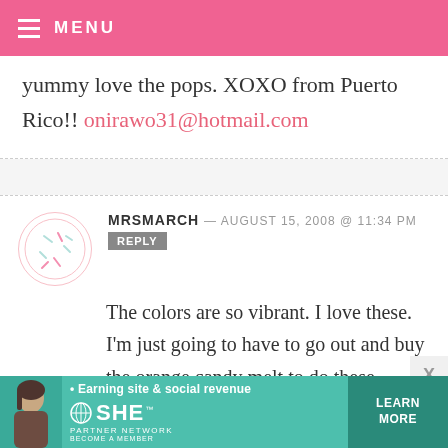MENU
yummy love the pops. XOXO from Puerto Rico!! onirawo31@hotmail.com
MRSMARCH — AUGUST 15, 2008 @ 11:34 PM
REPLY
The colors are so vibrant. I love these. I'm just going to have to go out and buy the orange candy melt to do these. Dieting and cake pops just don't go hand in hand.
[Figure (infographic): SHE Partner Network advertisement banner with woman photo, text 'Earning site & social revenue', SHE logo, and Learn More button]